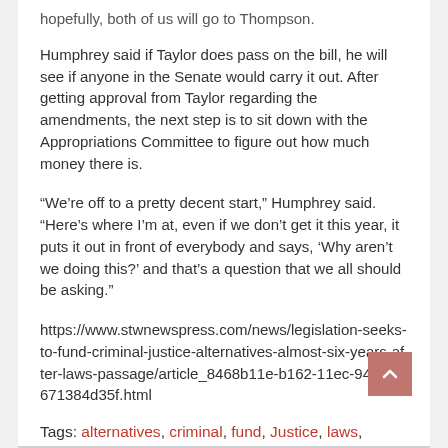hopefully, both of us will go to Thompson.
Humphrey said if Taylor does pass on the bill, he will see if anyone in the Senate would carry it out. After getting approval from Taylor regarding the amendments, the next step is to sit down with the Appropriations Committee to figure out how much money there is.
“We’re off to a pretty decent start,” Humphrey said. “Here’s where I’m at, even if we don’t get it this year, it puts it out in front of everybody and says, ‘Why aren’t we doing this?’ and that’s a question that we all should be asking.”
https://www.stwnewspress.com/news/legislation-seeks-to-fund-criminal-justice-alternatives-almost-six-years-after-laws-passage/article_8468b11e-b162-11ec-9477-cf671384d35f.html
Tags: alternatives, criminal, fund, Justice, laws, Legislation, News, passage, seeks, years